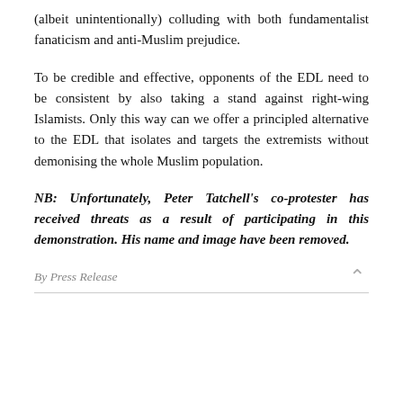(albeit unintentionally) colluding with both fundamentalist fanaticism and anti-Muslim prejudice.
To be credible and effective, opponents of the EDL need to be consistent by also taking a stand against right-wing Islamists. Only this way can we offer a principled alternative to the EDL that isolates and targets the extremists without demonising the whole Muslim population.
NB: Unfortunately, Peter Tatchell's co-protester has received threats as a result of participating in this demonstration. His name and image have been removed.
By Press Release